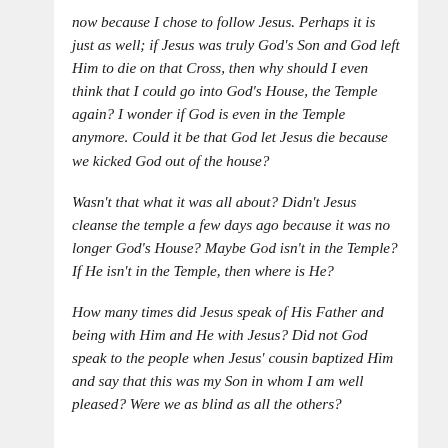now because I chose to follow Jesus. Perhaps it is just as well; if Jesus was truly God's Son and God left Him to die on that Cross, then why should I even think that I could go into God's House, the Temple again? I wonder if God is even in the Temple anymore. Could it be that God let Jesus die because we kicked God out of the house?
Wasn't that what it was all about? Didn't Jesus cleanse the temple a few days ago because it was no longer God's House? Maybe God isn't in the Temple? If He isn't in the Temple, then where is He?
How many times did Jesus speak of His Father and being with Him and He with Jesus? Did not God speak to the people when Jesus' cousin baptized Him and say that this was my Son in whom I am well pleased? Were we as blind as all the others?